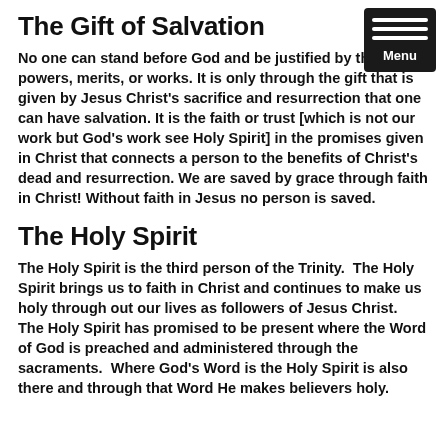The Gift of Salvation
No one can stand before God and be justified by their powers, merits, or works. It is only through the gift that is given by Jesus Christ's sacrifice and resurrection that one can have salvation. It is the faith or trust [which is not our work but God's work see Holy Spirit] in the promises given in Christ that connects a person to the benefits of Christ's dead and resurrection. We are saved by grace through faith in Christ! Without faith in Jesus no person is saved.
The Holy Spirit
The Holy Spirit is the third person of the Trinity.  The Holy Spirit brings us to faith in Christ and continues to make us holy through out our lives as followers of Jesus Christ.  The Holy Spirit has promised to be present where the Word of God is preached and administered through the sacraments.  Where God's Word is the Holy Spirit is also there and through that Word He makes believers holy.